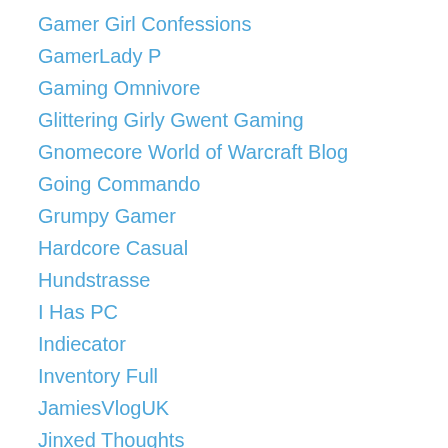Gamer Girl Confessions
GamerLady P
Gaming Omnivore
Glittering Girly Gwent Gaming
Gnomecore World of Warcraft Blog
Going Commando
Grumpy Gamer
Hardcore Casual
Hundstrasse
I Has PC
Indiecator
Inventory Full
JamiesVlogUK
Jinxed Thoughts
Just Adventure
justcallmeroybert
Kamalia et alia
Kaylriene
Knifesedge Blogs
Lina's Biscuity Burrow